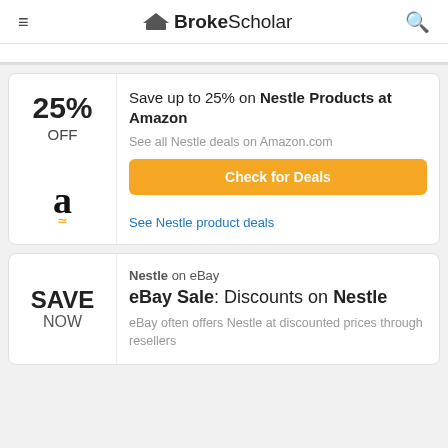BrokeScholar
25% OFF — Save up to 25% on Nestle Products at Amazon. See all Nestle deals on Amazon.com. Check for Deals. See Nestle product deals.
SAVE NOW — Nestle on eBay. eBay Sale: Discounts on Nestle. eBay often offers Nestle at discounted prices through resellers.